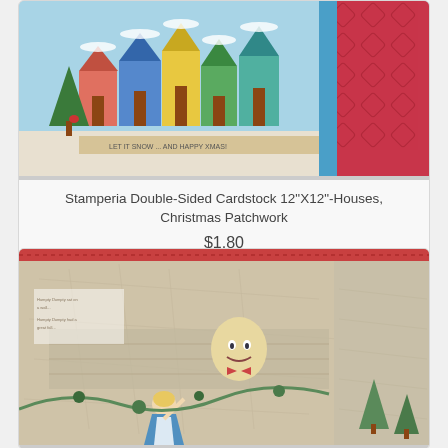[Figure (photo): Stamperia Double-Sided Cardstock showing colorful Christmas village houses with snow, decorative patchwork border pattern in red and blue]
Stamperia Double-Sided Cardstock 12"X12"-Houses, Christmas Patchwork
$1.80
[Figure (photo): Stamperia decorative paper showing Alice in Wonderland scene with Alice and Humpty Dumpty, vintage illustrated style with map-like background]